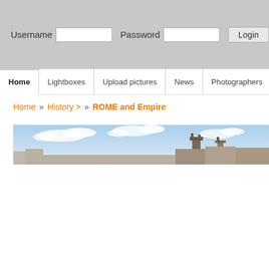Username [input] Password [input] Login
Home | Lightboxes | Upload pictures | News | Photographers | Ho...
Home » History > » ROME and Empire
[Figure (photo): Wide panoramic banner photo showing Roman/historic buildings with towers against a light blue sky with white clouds]